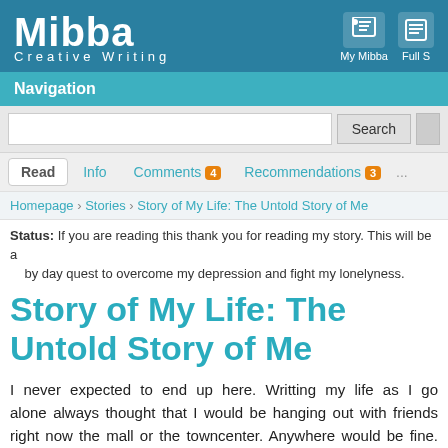Mibba Creative Writing
Navigation
Read | Info | Comments 4 | Recommendations 3 | ...
Homepage > Stories > Story of My Life: The Untold Story of Me
Status: If you are reading this thank you for reading my story. This will be a by day quest to overcome my depression and fight my lonelyness.
Story of My Life: The Untold Story of Me
I never expected to end up here. Writting my life as I go alone always thought that I would be hanging out with friends right now the mall or the towncenter. Anywhere would be fine. But the reality the matter is that I'm lonely and nobody knows it.